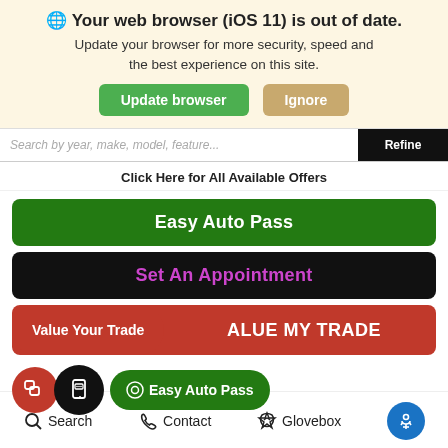🌐 Your web browser (iOS 11) is out of date. Update your browser for more security, speed and the best experience on this site.
Update browser | Ignore
Search by year, make, model, feature...
Refine
Click Here for All Available Offers
Easy Auto Pass
Set An Appointment
Value Your Trade
ALUE MY TRADE
Easy Auto Pass
NISSAN ALTIMA SL AWD
Search
Contact
Glovebox